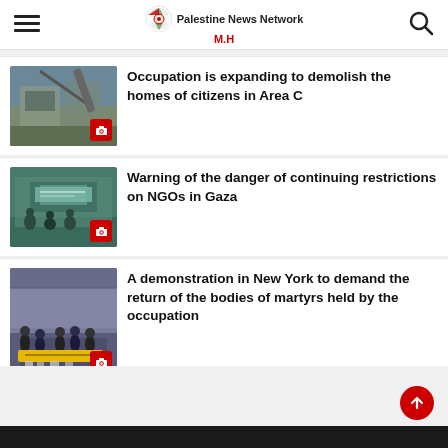Palestine News Network M.H
Occupation is expanding to demolish the homes of citizens in Area C
Warning of the danger of continuing restrictions on NGOs in Gaza
A demonstration in New York to demand the return of the bodies of martyrs held by the occupation